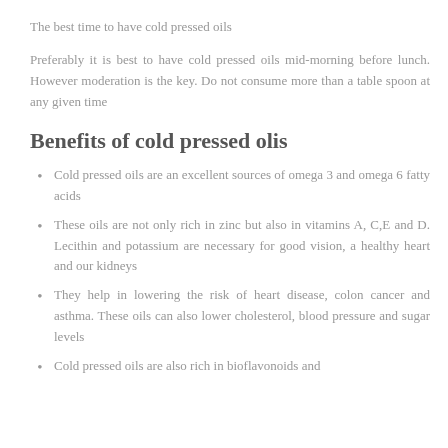The best time to have cold pressed oils
Preferably it is best to have cold pressed oils mid-morning before lunch. However moderation is the key. Do not consume more than a table spoon at any given time
Benefits of cold pressed olis
Cold pressed oils are an excellent sources of omega 3 and omega 6 fatty acids
These oils are not only rich in zinc but also in vitamins A, C,E and D. Lecithin and potassium are necessary for good vision, a healthy heart and our kidneys
They help in lowering the risk of heart disease, colon cancer and asthma. These oils can also lower cholesterol, blood pressure and sugar levels
Cold pressed oils are also rich in bioflavonoids and